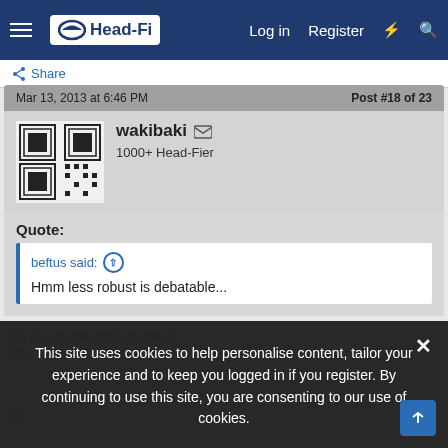Head-Fi — Log in | Register
Share
Mar 13, 2013 at 6:46 PM    Post #18 of 23
wakibaki ✉
1000+ Head-Fier
Quote:
beftus said: ↑
Hmm less robust is debatable...
This site uses cookies to help personalise content, tailor your experience and to keep you logged in if you register. By continuing to use this site, you are consenting to our use of cookies.